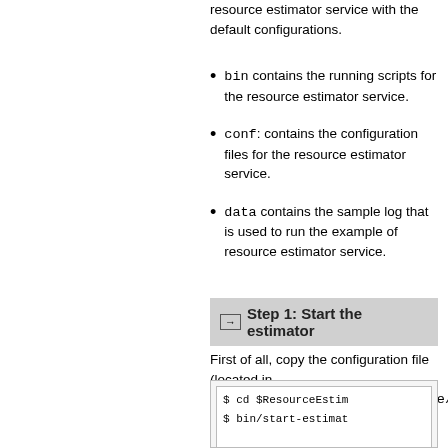resource estimator service with the default configurations.
bin contains the running scripts for the resource estimator service.
conf: contains the configuration files for the resource estimator service.
data contains the sample log that is used to run the example of resource estimator service.
Step 1: Start the estimator
First of all, copy the configuration file (located in $ResourceEstimatorServiceHome/conf) to $HADOOP_ROOT/etc/hadoop.
The script to start the estimator is start-estimator.sh.
[Figure (screenshot): Code box showing terminal commands: $ cd $ResourceEstim and $ bin/start-estimat]